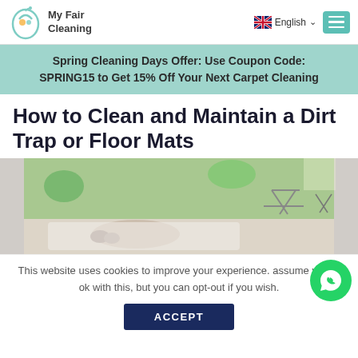My Fair Cleaning — English
Spring Cleaning Days Offer: Use Coupon Code: SPRING15 to Get 15% Off Your Next Carpet Cleaning
How to Clean and Maintain a Dirt Trap or Floor Mats
[Figure (photo): Hero image showing a person lying on a floor mat near a glass door, looking out to a garden with lawn chairs]
This website uses cookies to improve your experience. assume you're ok with this, but you can opt-out if you wish.
ACCEPT